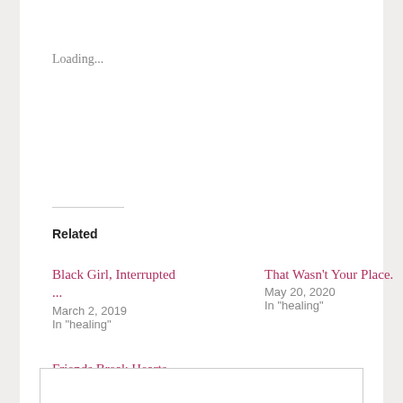Loading...
Related
Black Girl, Interrupted ...
March 2, 2019
In "healing"
That Wasn't Your Place.
May 20, 2020
In "healing"
Friends Break Hearts, Too.
October 9, 2019
In "friendships"